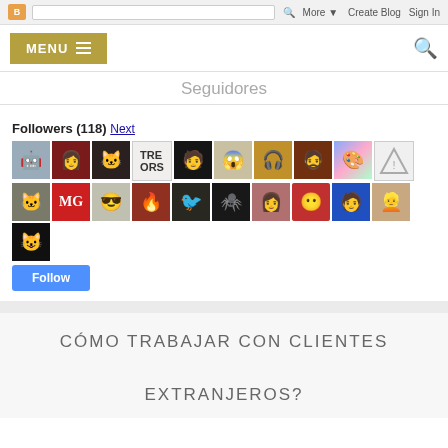Blogger navigation bar with icon, search, More, Create Blog, Sign In
[Figure (screenshot): Website navigation bar with MENU hamburger button in gold/olive color and search icon on the right]
Seguidores
Followers (118) Next
[Figure (other): Grid of 21 follower avatar profile pictures in two rows plus one extra]
Follow
CÓMO TRABAJAR CON CLIENTES EXTRANJEROS?